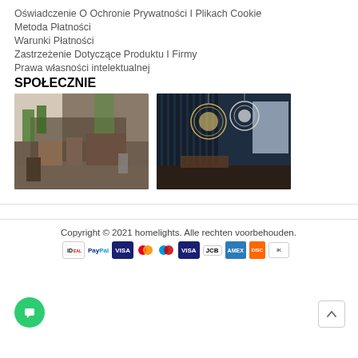Oświadczenie O Ochronie Prywatności I Plikach Cookie
Metoda Płatności
Warunki Płatności
Zastrzeżenie Dotyczące Produktu I Firmy
Prawa własności intelektualnej
SPOŁECZNIE
[Figure (photo): Interior room with plants, books, and decorative items on a sideboard, warm natural light]
[Figure (photo): Dark blue interior with decorative spherical pendant lights hanging from ceiling]
Copyright © 2021 homelights. Alle rechten voorbehouden.